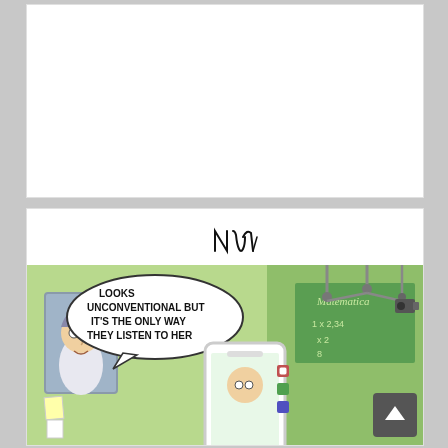[Figure (illustration): White blank card / empty space (top portion of page)]
[Figure (illustration): Cartoon comic by 'Nik' showing a teacher being filmed on a smartphone/Instagram live in a classroom setting. Speech bubble reads: 'LOOKS UNCONVENTIONAL BUT IT'S THE ONLY WAY THEY LISTEN TO HER'. Classroom chalkboard shows 'Matematica' and math equations. A large smartphone is shown in the foreground with app icons visible.]